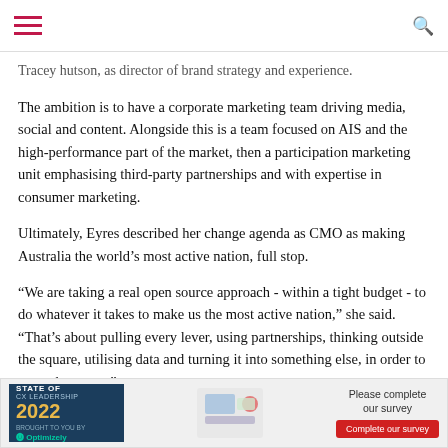[hamburger menu] [search icon]
Tracey hutson, as director of brand strategy and experience.
The ambition is to have a corporate marketing team driving media, social and content. Alongside this is a team focused on AIS and the high-performance part of the market, then a participation marketing unit emphasising third-party partnerships and with expertise in consumer marketing.
Ultimately, Eyres described her change agenda as CMO as making Australia the world’s most active nation, full stop.
“We are taking a real open source approach - within a tight budget - to do whatever it takes to make us the most active nation,” she said. “That’s about pulling every lever, using partnerships, thinking outside the square, utilising data and turning it into something else, in order to grow the sector.”
Follow CMO on Twitter: @CMOAustralia, take part in the CMO conversation on LinkedIn: CMO ANZ, join us on Facebook: https://www.facebook.com/CMOAustralia, check us out on ...
[Figure (other): Advertisement banner: STATE OF CX LEADERSHIP 2022 by Optimizely. Please complete our survey. Complete our survey button.]